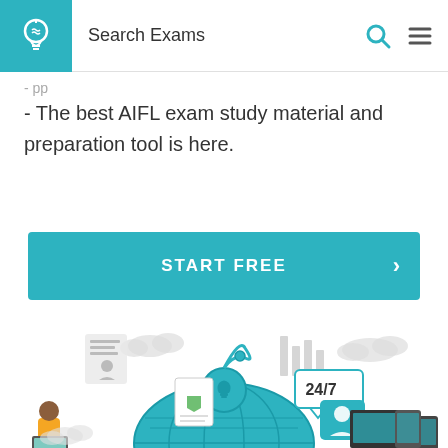Search Exams
- The best AIFL exam study material and preparation tool is here.
START FREE
[Figure (illustration): Educational platform illustration showing a globe with a lightbulb head icon, surrounding icons for 24/7 support, security/shield, documents, clouds, and devices (laptop, tablet, phone), with a person working at a computer. Rendered in teal/cyan and gray tones.]